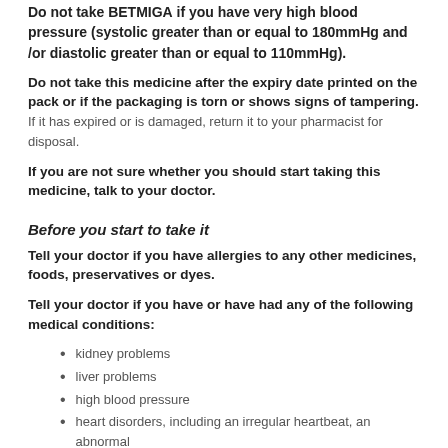Do not take BETMIGA if you have very high blood pressure (systolic greater than or equal to 180mmHg and /or diastolic greater than or equal to 110mmHg).
Do not take this medicine after the expiry date printed on the pack or if the packaging is torn or shows signs of tampering. If it has expired or is damaged, return it to your pharmacist for disposal.
If you are not sure whether you should start taking this medicine, talk to your doctor.
Before you start to take it
Tell your doctor if you have allergies to any other medicines, foods, preservatives or dyes.
Tell your doctor if you have or have had any of the following medical conditions:
kidney problems
liver problems
high blood pressure
heart disorders, including an irregular heartbeat, an abnormal